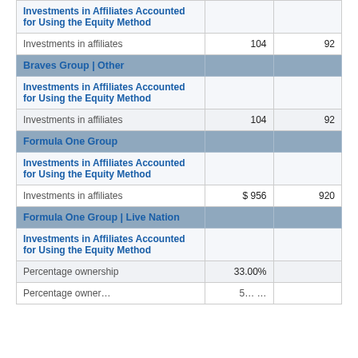|  |  |  |
| --- | --- | --- |
| Investments in Affiliates Accounted for Using the Equity Method |  |  |
| Investments in affiliates | 104 | 92 |
| Braves Group | Other |  |  |
| Investments in Affiliates Accounted for Using the Equity Method |  |  |
| Investments in affiliates | 104 | 92 |
| Formula One Group |  |  |
| Investments in Affiliates Accounted for Using the Equity Method |  |  |
| Investments in affiliates | $ 956 | 920 |
| Formula One Group | Live Nation |  |  |
| Investments in Affiliates Accounted for Using the Equity Method |  |  |
| Percentage ownership | 33.00% |  |
| ... | ... |  |